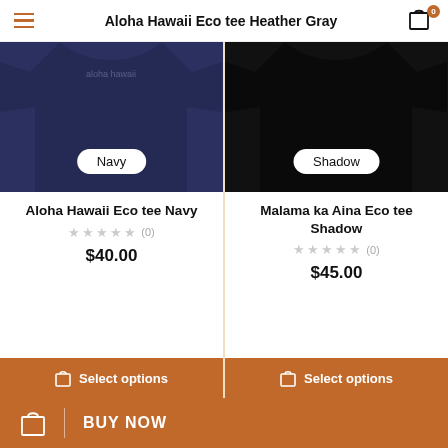Aloha Hawaii Eco tee Heather Gray
[Figure (photo): Navy t-shirt product photo with 'Navy' label overlay]
Aloha Hawaii Eco tee Navy
☆☆☆☆☆ (0)
$40.00
Select options
[Figure (photo): Shadow/black t-shirt product photo with 'Shadow' label overlay]
Malama ka Aina Eco tee Shadow
☆☆☆☆☆ (0)
$45.00
Select options
BUY NOW